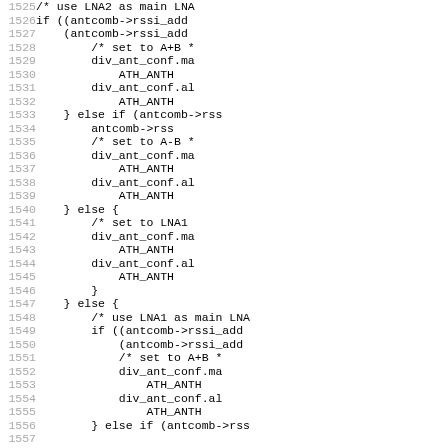[Figure (screenshot): Source code listing showing C code lines 1525-1557, with line numbers on the left in gray and code content on the right in monospace font. The code involves antenna diversity logic with conditions on antcomb->rssi_add, div_ant_conf settings, and ATH_ANT constants.]